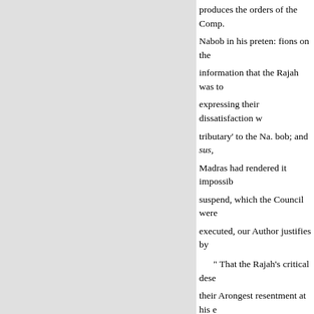produces the orders of the Comp. Nabob in his preten: fions on the information that the Rajah was to expressing their dissatisfaction w tributary' to the Na. bob; and sus, Madras had rendered it impossib suspend, which the Council were executed, our Author justifies by
" That the Rajah's critical dese their Arongest resentment at his e security, and of his country, to th was." a tributary Dependent on t
yet
he refused furnish his quota towa with Hyder," the common enemy pursue such meafures against him government."—That in addition Nabob," in violation of the Nabo contempt of the honour and pow of his perfidy, " he attacked the D
Having on these and other groun